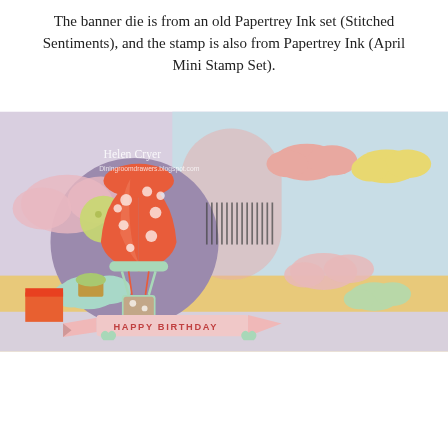The banner die is from an old Papertrey Ink set (Stitched Sentiments), and the stamp is also from Papertrey Ink (April Mini Stamp Set).
[Figure (photo): A handmade birthday card featuring a pop-up hot air balloon with orange and white polka dot pattern, mint green basket and accents, pastel clouds in pink, mint, and yellow, a purple circle background, decorative banner reading 'HAPPY BIRTHDAY', and a watermark reading 'Helen Cryer Diningroomdrawers.blogspot.com'.]